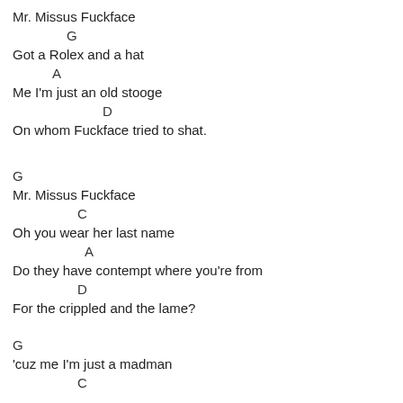Mr. Missus Fuckface
G
Got a Rolex and a hat
A
Me I'm just an old stooge
D
On whom Fuckface tried to shat.
G
Mr. Missus Fuckface
C
Oh you wear her last name
A
Do they have contempt where you're from
D
For the crippled and the lame?
G
'cuz me I'm just a madman
C